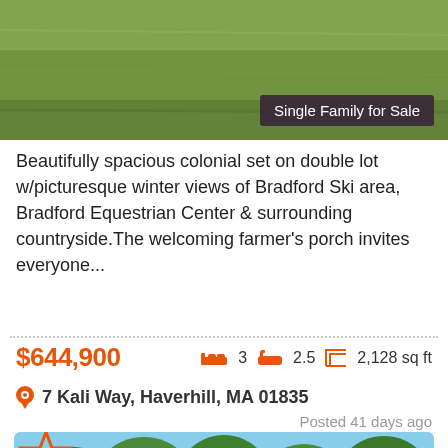[Figure (photo): Green lawn/grass photo with 'Single Family for Sale' badge overlay]
Beautifully spacious colonial set on double lot w/picturesque winter views of Bradford Ski area, Bradford Equestrian Center & surrounding countryside. The welcoming farmer's porch invites everyone...
$644,900   3  2.5  2,128 sq ft
7 Kali Way, Haverhill, MA 01835
Posted 41 days ago
[Figure (photo): House exterior photo showing roof and trees against blue sky]